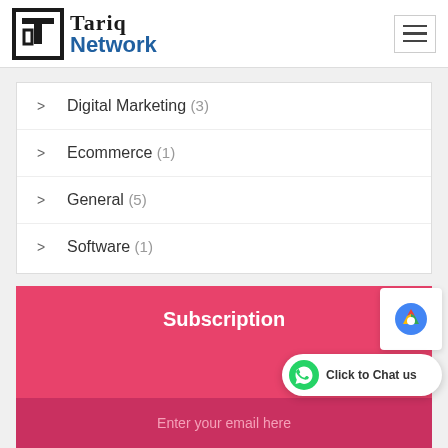Tariq Network
Digital Marketing (3)
Ecommerce (1)
General (5)
Software (1)
Subscription
Enter your email here